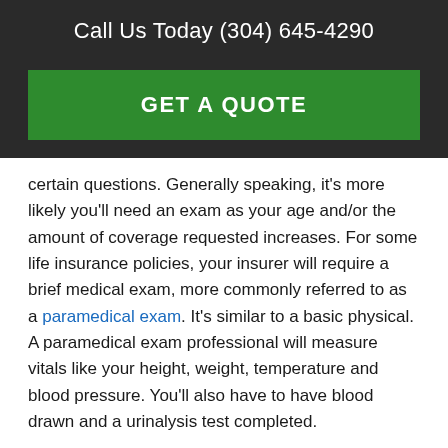Call Us Today (304) 645-4290
[Figure (other): Green GET A QUOTE button on dark background]
certain questions. Generally speaking, it's more likely you'll need an exam as your age and/or the amount of coverage requested increases. For some life insurance policies, your insurer will require a brief medical exam, more commonly referred to as a paramedical exam. It's similar to a basic physical. A paramedical exam professional will measure vitals like your height, weight, temperature and blood pressure. You'll also have to have blood drawn and a urinalysis test completed.
4. Can I purchase life insurance without a health